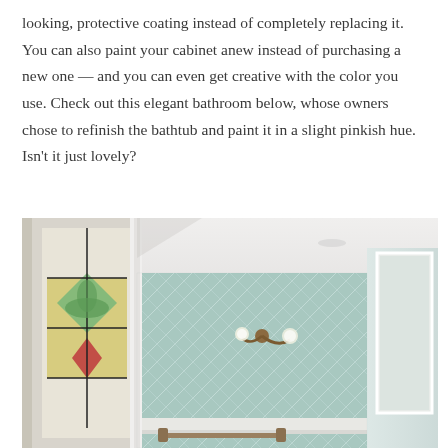looking, protective coating instead of completely replacing it. You can also paint your cabinet anew instead of purchasing a new one — and you can even get creative with the color you use. Check out this elegant bathroom below, whose owners chose to refinish the bathtub and paint it in a slight pinkish hue. Isn't it just lovely?
[Figure (photo): Interior bathroom photo showing herringbone light blue/teal tiles on the wall, a stained glass window on the left with red and green geometric design, a wall-mounted sconce light fixture, white trim and ceiling, and a towel bar at the bottom.]